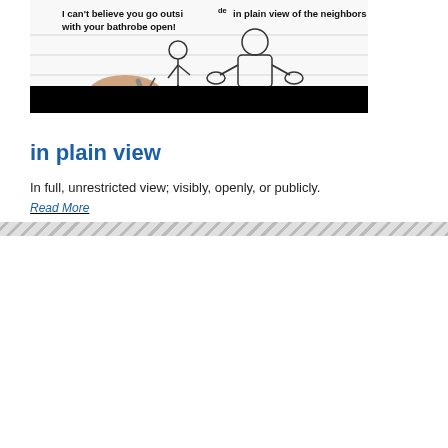[Figure (illustration): A drawn illustration showing two figures — a smaller person and a larger muscular person. A hand holding a pencil is visible in the foreground, suggesting the scene is being drawn. Text at the top reads: 'I can't believe you go outside in plain view of the neighbors with your bathrobe open!' The Farlex logo is in the lower right corner. A black bar appears at the bottom of the image.]
in plain view
In full, unrestricted view; visibly, openly, or publicly.
Read More